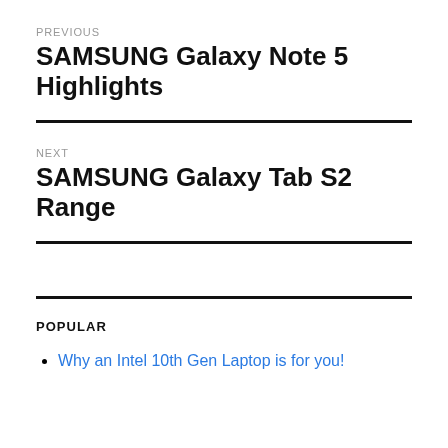PREVIOUS
SAMSUNG Galaxy Note 5 Highlights
NEXT
SAMSUNG Galaxy Tab S2 Range
POPULAR
Why an Intel 10th Gen Laptop is for you!